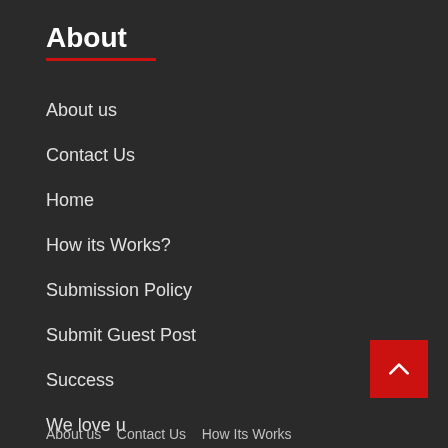About
About us
Contact Us
Home
How its Works?
Submission Policy
Submit Guest Post
Success
We love u
About us   Contact Us   How Its Works